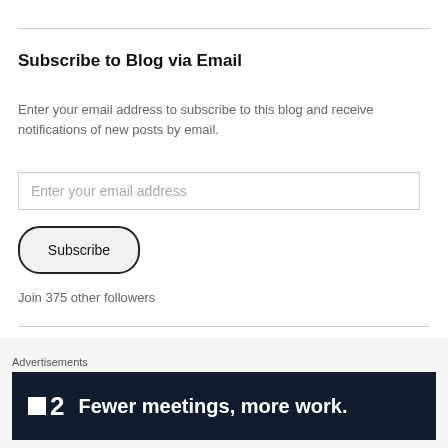Subscribe to Blog via Email
Enter your email address to subscribe to this blog and receive notifications of new posts by email.
[Figure (screenshot): Email input field with placeholder text 'Enter your email address']
[Figure (screenshot): Subscribe button with rounded border]
Join 375 other followers
TREASURE TROVE'S YOUTUBE CHANNEL
[Figure (screenshot): Advertisement banner with dark background showing 'F2 Fewer meetings, more work.' with Advertisements label above and close X button]